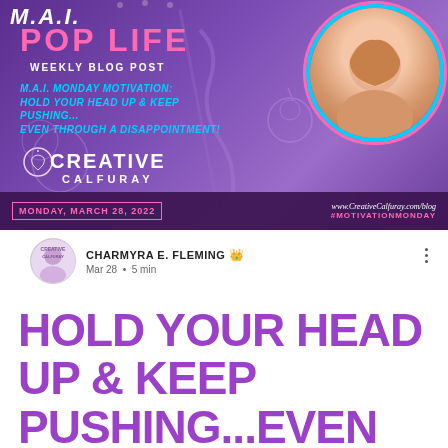[Figure (illustration): Blog post banner for Creative Calfuray MAI Pop Life weekly blog post. Purple background with decorative pen/calligraphy elements, circular photo of smiling woman, title text 'M.A.I. Monday Motivation: Hold Your Head Up & Keep Pushing...Even Through a Disappointment!', date Monday March 28 2022, website www.CreativeCalfuray.com/blog, hashtag #MotivationMonday]
CHARMYRA E. FLEMING 👑
Mar 28 • 5 min
HOLD YOUR HEAD UP & KEEP PUSHING...EVEN